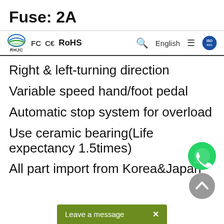Fuse: 2A
RHJC | FC CE RoHS | English | ISO
Right & left-turning direction
Variable speed hand/foot pedal
Automatic stop system for overload
Use ceramic bearing(Life expectancy 1.5times)
All part import from Korea&Japan
Leave a message